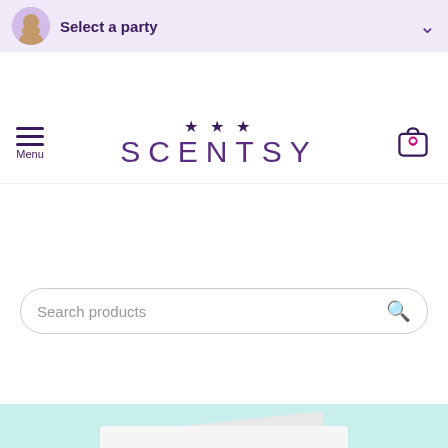[Figure (screenshot): Top navigation bar with avatar, 'Select a party' text and chevron dropdown]
[Figure (logo): Scentsy logo with stars above and hamburger menu on left, shopping cart with heart on right]
[Figure (screenshot): Search products input bar with magnifying glass icon]
[Figure (illustration): Scentsy Newsroom banner with newspaper illustration on light teal background. Text reads 'Scentsy Newsroom']
[Figure (photo): Forbes 2022 THE BEST banner on black background with purple border]